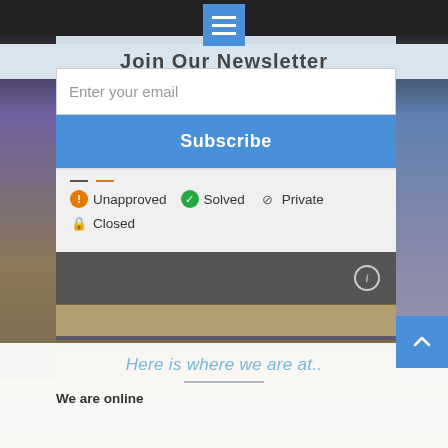[Figure (screenshot): Top dark navigation bar with hamburger menu icon in blue square]
Join Our Newsletter
Enter your email
Subscribe
Unapproved   Solved   Private   Closed
[Figure (screenshot): Dark grey info bar with circle-i info icon on right]
Here is where we are at..
We are online